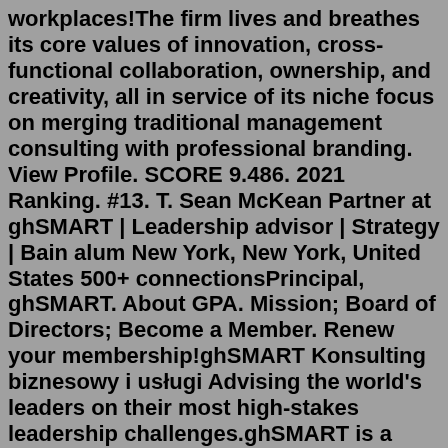workplaces!The firm lives and breathes its core values of innovation, cross-functional collaboration, ownership, and creativity, all in service of its niche focus on merging traditional management consulting with professional branding. View Profile. SCORE 9.486. 2021 Ranking. #13. T. Sean McKean Partner at ghSMART | Leadership advisor | Strategy | Bain alum New York, New York, United States 500+ connectionsPrincipal, ghSMART. About GPA. Mission; Board of Directors; Become a Member. Renew your membership!ghSMART Konsulting biznesowy i usługi Advising the world's leaders on their most high-stakes leadership challenges.ghSMART is a leadership advisory firm based in Chicago. The boutique firm serves consulting firms, PE firms, investment management firms, Fortune 500 companies, and non-profits. ghSMART primarily advises leadership teams (CEOs and Boards) on talent strategy, CEO/executive succession, leadership development, team and board effectiveness and more. Description. ghSMART &